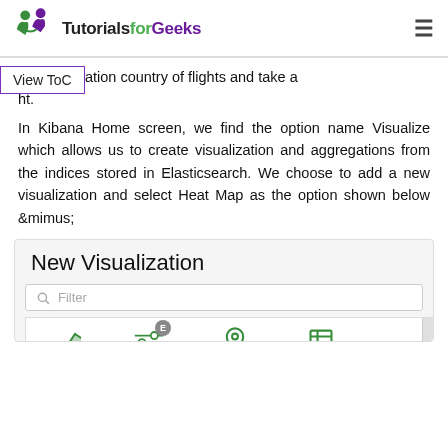TutorialsforGeeks
and destination country of flights and take a screenshot.
View ToC
In Kibana Home screen, we find the option name Visualize which allows us to create visualization and aggregations from the indices stored in Elasticsearch. We choose to add a new visualization and select Heat Map as the option shown below &mimus;
[Figure (screenshot): Screenshot of Kibana New Visualization screen showing a search/filter bar and visualization type icons including Area, Controls, Coordinate Map, and Data Table]